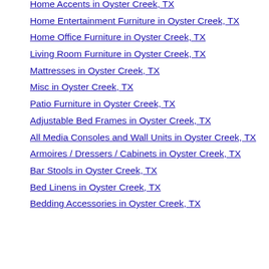Home Accents in Oyster Creek, TX
Home Entertainment Furniture in Oyster Creek, TX
Home Office Furniture in Oyster Creek, TX
Living Room Furniture in Oyster Creek, TX
Mattresses in Oyster Creek, TX
Misc in Oyster Creek, TX
Patio Furniture in Oyster Creek, TX
Adjustable Bed Frames in Oyster Creek, TX
All Media Consoles and Wall Units in Oyster Creek, TX
Armoires / Dressers / Cabinets in Oyster Creek, TX
Bar Stools in Oyster Creek, TX
Bed Linens in Oyster Creek, TX
Bedding Accessories in Oyster Creek, TX